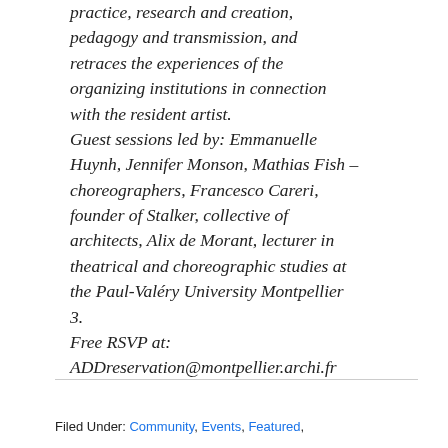practice, research and creation, pedagogy and transmission, and retraces the experiences of the organizing institutions in connection with the resident artist. Guest sessions led by: Emmanuelle Huynh, Jennifer Monson, Mathias Fish – choreographers, Francesco Careri, founder of Stalker, collective of architects, Alix de Morant, lecturer in theatrical and choreographic studies at the Paul-Valéry University Montpellier 3. Free RSVP at: ADDreservation@montpellier.archi.fr
Filed Under: Community, Events, Featured, ...